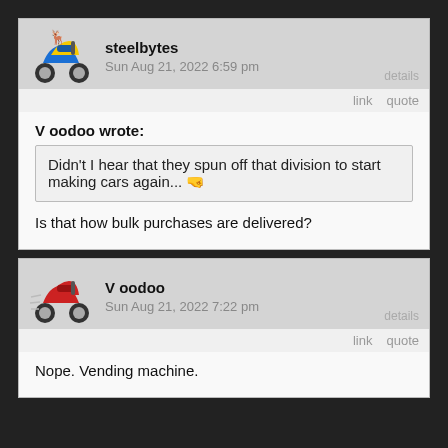steelbytes — Sun Aug 21, 2022 6:59 pm
V oodoo wrote:
Didn't I hear that they spun off that division to start making cars again...
Is that how bulk purchases are delivered?
V oodoo — Sun Aug 21, 2022 7:22 pm
Nope. Vending machine.